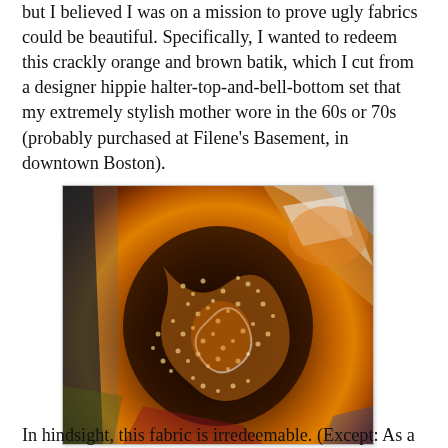but I believed I was on a mission to prove ugly fabrics could be beautiful. Specifically, I wanted to redeem this crackly orange and brown batik, which I cut from a designer hippie halter-top-and-bell-bottom set that my extremely stylish mother wore in the 60s or 70s (probably purchased at Filene's Basement, in downtown Boston).
[Figure (photo): Close-up photograph of a crackly orange and brown batik fabric with swirling patterns, dots, and mixed colors including dark brown, orange, yellow, white, and hints of blue and red.]
In hindsight, this fabric is irredeemable. (Except: As a